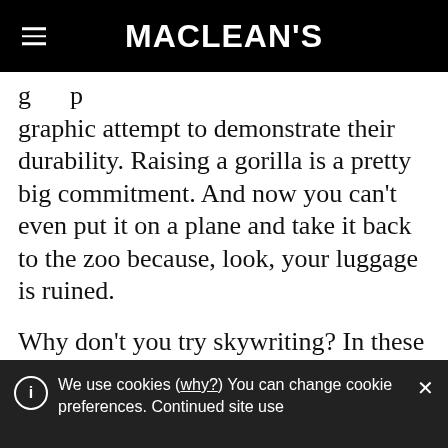MACLEAN'S
graphic attempt to demonstrate their durability. Raising a gorilla is a pretty big commitment. And now you can't even put it on a plane and take it back to the zoo because, look, your luggage is ruined.
Why don't you try skywriting? In these high-tech times, skywriting has fallen out of favour as a means of message conveyance – but it really can't be beat as a
We use cookies (why?) You can change cookie preferences. Continued site use